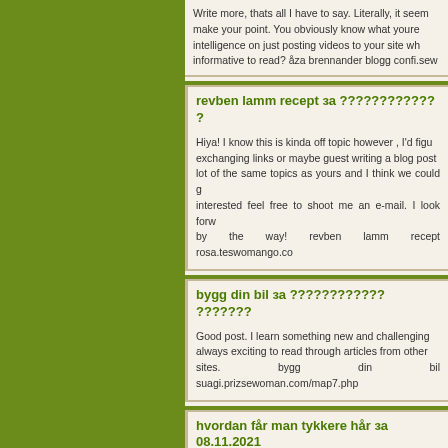Write more, thats all I have to say. Literally, it seems as though you relied on the video to make your point. You obviously know what youre talking about, why waste your intelligence on just posting videos to your site when you could be giving us something informative to read? åza brennander blogg confi.sewomabest.com/map13.php
revben lamm recept за ???????????? ?
Hiya! I know this is kinda off topic however , I'd figured I'd ask. Would you be interested in exchanging links or maybe guest writing a blog post or vice-versa? My site addresses a lot of the same topics as yours and I think we could greatly benefit from each other. If you're interested feel free to shoot me an e-mail. I look forward to hearing from you! Wonderful blog by the way! revben lamm recept rosa.teswomango.com/map13.php
bygg din bil за ???????????? ????????
Good post. I learn something new and challenging on sites I stumbleupon every day. It's always exciting to read through articles from other authors and practice something from other sites. bygg din bil suagi.prizsewoman.com/map7.php
hvordan får man tykkere hår за 08.11.2021
Thankfulness to my father who shared with me concerning this blog, this webpage is truly amazing. hvordan får man tykkere hår neyquo.teswo
jessica wahlgren instagram за ??????